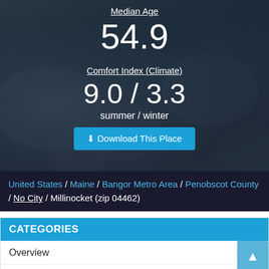[Figure (photo): Rocky coastal/stone background image with dark overlay, showing statistics for Millinocket (zip 04462)]
Median Age
54.9
Comfort Index (Climate)
9.0 / 3.3
summer / winter
Download This Place
United States / Maine / Bangor Metro Area / Penobscot County / No City / Millinocket (zip 04462)
CATEGORIES
Overview
Real Estate
Cost of Living